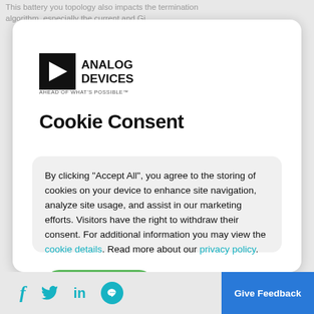This battery you topology also impacts the termination algorithm, especially the current and Gi...
[Figure (logo): Analog Devices logo with triangle and text 'ANALOG DEVICES AHEAD OF WHAT'S POSSIBLE']
Cookie Consent
By clicking “Accept All”, you agree to the storing of cookies on your device to enhance site navigation, analyze site usage, and assist in our marketing efforts. Visitors have the right to withdraw their consent. For additional information you may view the cookie details. Read more about our privacy policy.
Accept All